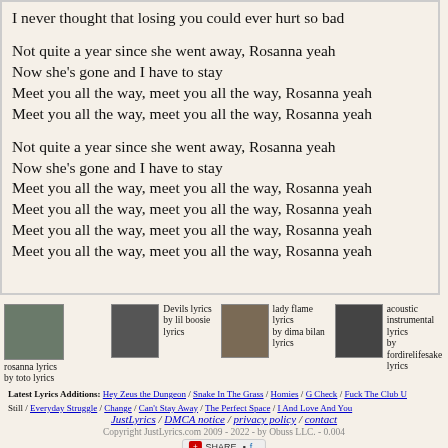I never thought that losing you could ever hurt so bad

Not quite a year since she went away, Rosanna yeah
Now she's gone and I have to stay
Meet you all the way, meet you all the way, Rosanna yeah
Meet you all the way, meet you all the way, Rosanna yeah

Not quite a year since she went away, Rosanna yeah
Now she's gone and I have to stay
Meet you all the way, meet you all the way, Rosanna yeah
Meet you all the way, meet you all the way, Rosanna yeah
Meet you all the way, meet you all the way, Rosanna yeah
Meet you all the way, meet you all the way, Rosanna yeah
[Figure (photo): rosanna lyrics thumbnail - by toto lyrics]
rosanna lyrics by toto lyrics
[Figure (photo): Devils lyrics thumbnail]
Devils lyrics by lil boosie lyrics
[Figure (photo): lady flame lyrics thumbnail]
lady flame lyrics by dima bilan lyrics
[Figure (photo): acoustic instrumental lyrics thumbnail]
acoustic instrumental lyrics by fordirelifesake lyrics
Latest Lyrics Additions: Hey Zeus the Dungeon / Snake In The Grass / Homies / G Check / Fuck The Club U Still / Everyday Struggle / Change / Can't Stay Away / The Perfect Space / I And Love And You
JustLyrics / DMCA notice / privacy policy / contact
Copyright JustLyrics.com 2009 - 2022 - by Obuss LLC. - 0.004